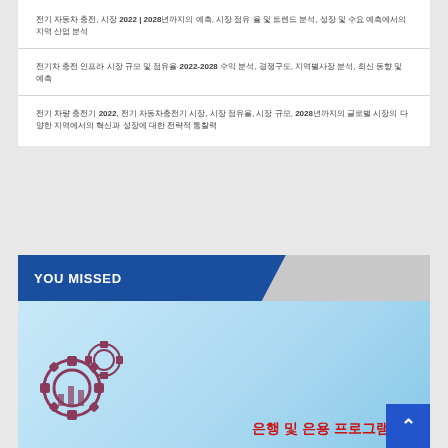전기 자동차 충전, 시장 2022 | 2028년까지의 예측, 시장 점유 율 및 트렌드 분석, 성장 및 수요 예측에서의 지역 산업 분석
전기차 충전 인프라 시장 규모 및 점유율 2022-2028 수익 분석, 경쟁구도, 지역별사장 분석, 최신 동향 및 예측
전기 차량 충전기 2022, 전기 자동차충전기 시장, 시장 점유율, 시장 규모, 2028년까지의 글로벌 시장의 다양한 지역에서의 혁신과 성장에 대한 전략적 통찰력
YOU MISSED
[Figure (illustration): Gear and factory/chart icon illustration on light blue background with Korean text '은행 및 은용 프로그램' in red]